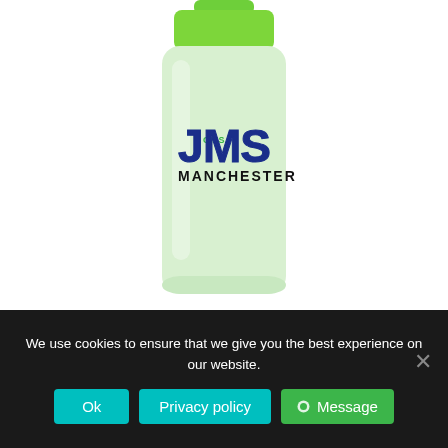[Figure (photo): A translucent frosted green water bottle/travel tumbler with a bright green lid. The bottle has a logo printed on it showing 'JOMS MANCHESTER' in collegiate style lettering - 'J' and 'MS' in dark blue block letters with blue outline, and 'MANCHESTER' in black text beneath.]
We use cookies to ensure that we give you the best experience on our website.